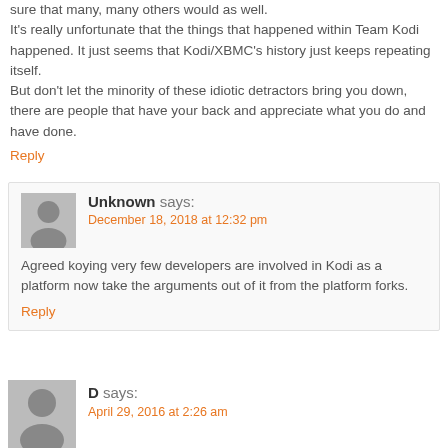sure that many, many others would as well. It's really unfortunate that the things that happened within Team Kodi happened. It just seems that Kodi/XBMC's history just keeps repeating itself. But don't let the minority of these idiotic detractors bring you down, there are people that have your back and appreciate what you do and have done.
Reply
Unknown says: December 18, 2018 at 12:32 pm
Agreed koying very few developers are involved in Kodi as a platform now take the arguments out of it from the platform forks.
Reply
D says: April 29, 2016 at 2:26 am